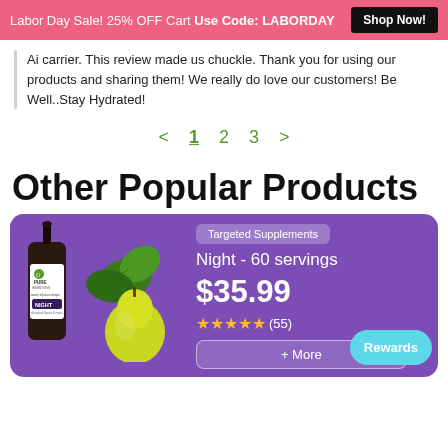Labor Day Sale! 25% OFF Cart Use Code: LABORDAY  Shop Now!
Ai carrier. This review made us chuckle. Thank you for using our products and sharing them! We really do love our customers! Be Well..Stay Hydrated!
< 1 2 3 >
Other Popular Products
[Figure (photo): Product card with purple background showing a bottle of Pure Inventions Night water infusion drops with mint leaves and a pear, labeled Targeted Supplements, Night - 60 servings, $35.99, 5 stars (55 reviews), with a cyan Rewards button]
Targeted Supplements — Night - 60 servings — $35.99 — ★★★★★ (55) — Rewards